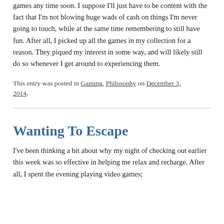games any time soon. I suppose I'll just have to be content with the fact that I'm not blowing huge wads of cash on things I'm never going to touch, while at the same time remembering to still have fun. After all, I picked up all the games in my collection for a reason. They piqued my interest in some way, and will likely still do so whenever I get around to experiencing them.
This entry was posted in Gaming, Philosophy on December 3, 2014.
Wanting To Escape
I've been thinking a bit about why my night of checking out earlier this week was so effective in helping me relax and recharge. After all, I spent the evening playing video games;